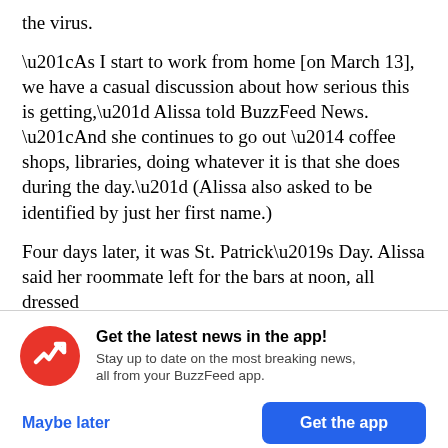the virus.
“As I start to work from home [on March 13], we have a casual discussion about how serious this is getting,” Alissa told BuzzFeed News. “And she continues to go out — coffee shops, libraries, doing whatever it is that she does during the day.” (Alissa also asked to be identified by just her first name.)
Four days later, it was St. Patrick’s Day. Alissa said her roommate left for the bars at noon, all dressed
[Figure (logo): BuzzFeed app promotion banner with red circular BuzzFeed logo (white arrow trending up), headline 'Get the latest news in the app!', subtext 'Stay up to date on the most breaking news, all from your BuzzFeed app.', and two buttons: 'Maybe later' (blue text) and 'Get the app' (blue button).]